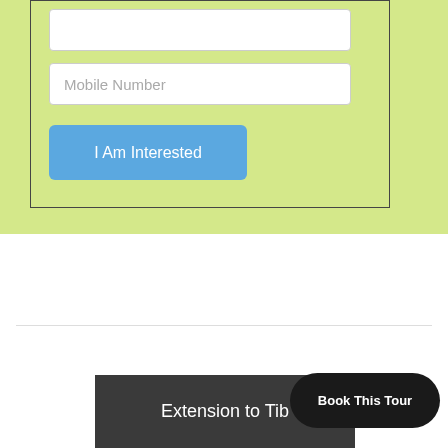[Figure (screenshot): A form section with a yellow-green background containing a mobile number input field and an 'I Am Interested' button inside a bordered container.]
Mobile Number
I Am Interested
Extension to Tib
Book This Tour